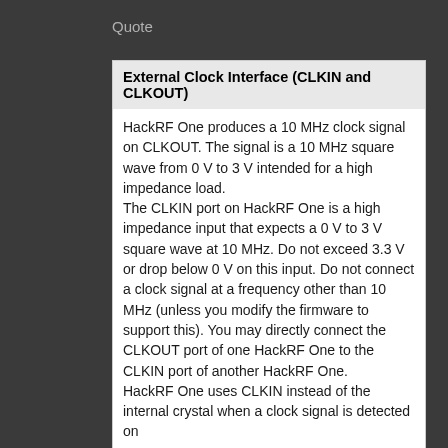Quote
External Clock Interface (CLKIN and CLKOUT)
HackRF One produces a 10 MHz clock signal on CLKOUT. The signal is a 10 MHz square wave from 0 V to 3 V intended for a high impedance load.
The CLKIN port on HackRF One is a high impedance input that expects a 0 V to 3 V square wave at 10 MHz. Do not exceed 3.3 V or drop below 0 V on this input. Do not connect a clock signal at a frequency other than 10 MHz (unless you modify the firmware to support this). You may directly connect the CLKOUT port of one HackRF One to the CLKIN port of another HackRF One.
HackRF One uses CLKIN instead of the internal crystal when a clock signal is detected on